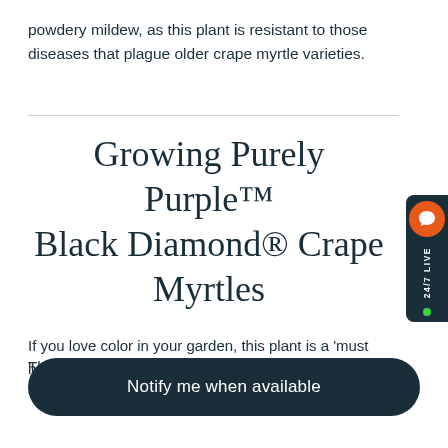powdery mildew, as this plant is resistant to those diseases that plague older crape myrtle varieties.
Growing Purely Purple™ Black Diamond® Crape Myrtles
If you love color in your garden, this plant is a 'must have'
This product is currently out of stock and unavailable.
Notify me when available